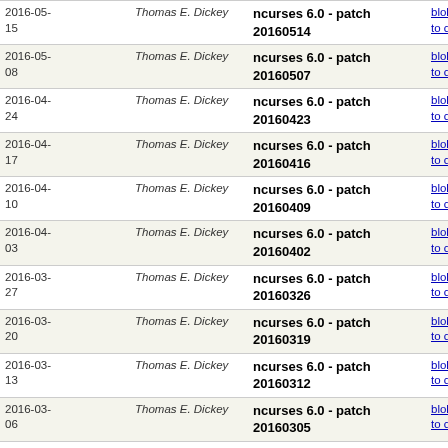| Date | Author | Commit message | Links |
| --- | --- | --- | --- |
| 2016-05-15 | Thomas E. Dickey | ncurses 6.0 - patch 20160514 | blob | commitdiff | raw | diff to current |
| 2016-05-08 | Thomas E. Dickey | ncurses 6.0 - patch 20160507 | blob | commitdiff | raw | diff to current |
| 2016-04-24 | Thomas E. Dickey | ncurses 6.0 - patch 20160423 | blob | commitdiff | raw | diff to current |
| 2016-04-17 | Thomas E. Dickey | ncurses 6.0 - patch 20160416 | blob | commitdiff | raw | diff to current |
| 2016-04-10 | Thomas E. Dickey | ncurses 6.0 - patch 20160409 | blob | commitdiff | raw | diff to current |
| 2016-04-03 | Thomas E. Dickey | ncurses 6.0 - patch 20160402 | blob | commitdiff | raw | diff to current |
| 2016-03-27 | Thomas E. Dickey | ncurses 6.0 - patch 20160326 | blob | commitdiff | raw | diff to current |
| 2016-03-20 | Thomas E. Dickey | ncurses 6.0 - patch 20160319 | blob | commitdiff | raw | diff to current |
| 2016-03-13 | Thomas E. Dickey | ncurses 6.0 - patch 20160312 | blob | commitdiff | raw | diff to current |
| 2016-03-06 | Thomas E. Dickey | ncurses 6.0 - patch 20160305 | blob | commitdiff | raw | diff to current |
| 2016-02-21 | Thomas E. Dickey | ncurses 6.0 - patch 20160220 | blob | commitdiff | raw | diff to current |
| 2016-02-14 | Thomas E. Dickey | ncurses 6.0 - patch 20160213 | blob | commitdiff | raw | diff to current |
| 2016-02-07 | Thomas E. Dickey | ncurses 6.0 - patch 20160206 | blob | commitdiff | raw | diff to current |
| 2016-01-... | Thomas E. ... | ncurses 6.0 - patch ... | blob | commitdiff | raw | diff to current |